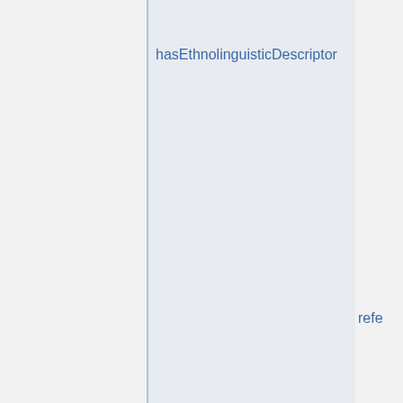hasEthnolinguisticDescriptor
refe